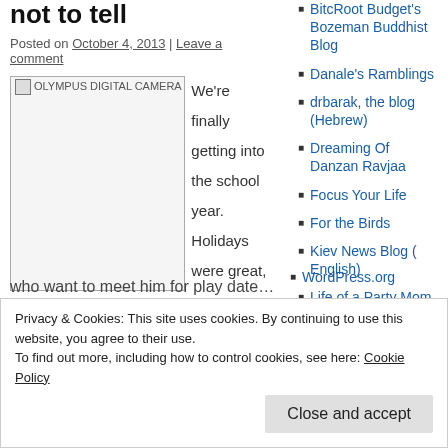not to tell
Posted on October 4, 2013 | Leave a comment
[Figure (photo): OLYMPUS DIGITAL CAMERA image placeholder with broken image icon]
We're finally getting into the school year. Holidays were great, spent lots of time with DH's family. Kids loved it since they enjoy being with their cousins.
BitcRoot Budget's Bozeman Buddhist Blog
Danale's Ramblings
drbarak, the blog (Hebrew)
Dreaming Of Danzan Ravjaa
Focus Your Life
For the Birds
Kiev News Blog ( English)
Life of a Party Mom
Little Green Footballs
Privacy & Cookies: This site uses cookies. By continuing to use this website, you agree to their use.
To find out more, including how to control cookies, see here: Cookie Policy
Close and accept
WordPress.org